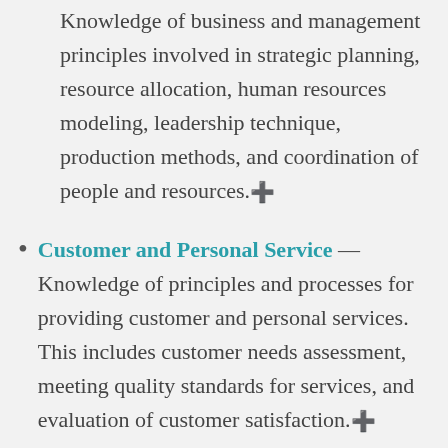Knowledge of business and management principles involved in strategic planning, resource allocation, human resources modeling, leadership technique, production methods, and coordination of people and resources.
Customer and Personal Service — Knowledge of principles and processes for providing customer and personal services. This includes customer needs assessment, meeting quality standards for services, and evaluation of customer satisfaction.
English Language — Knowledge of the